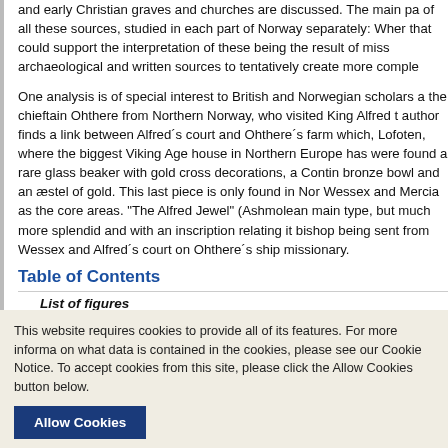and early Christian graves and churches are discussed. The main pa of all these sources, studied in each part of Norway separately: Wher that could support the interpretation of these being the result of miss archaeological and written sources to tentatively create more comple
One analysis is of special interest to British and Norwegian scholars the chieftain Ohthere from Northern Norway, who visited King Alfred t author finds a link between Alfred´s court and Ohthere´s farm which, Lofoten, where the biggest Viking Age house in Northern Europe has were found a rare glass beaker with gold cross decorations, a Contin bronze bowl and an æstel of gold. This last piece is only found in Nor Wessex and Mercia as the core areas. “The Alfred Jewel” (Ashmolean main type, but much more splendid and with an inscription relating it bishop being sent from Wessex and Alfred´s court on Ohthere´s ship missionary.
Table of Contents
List of figures
This website requires cookies to provide all of its features. For more informa on what data is contained in the cookies, please see our Cookie Notice. To accept cookies from this site, please click the Allow Cookies button below.